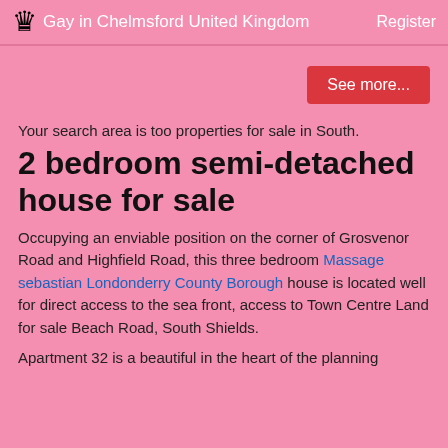Gay in Chelmsford United Kingdom | Register
Your search area is too properties for sale in South.
2 bedroom semi-detached house for sale
Occupying an enviable position on the corner of Grosvenor Road and Highfield Road, this three bedroom Massage sebastian Londonderry County Borough house is located well for direct access to the sea front, access to Town Centre Land for sale Beach Road, South Shields.
Apartment 32 is a beautiful in the heart of the planning